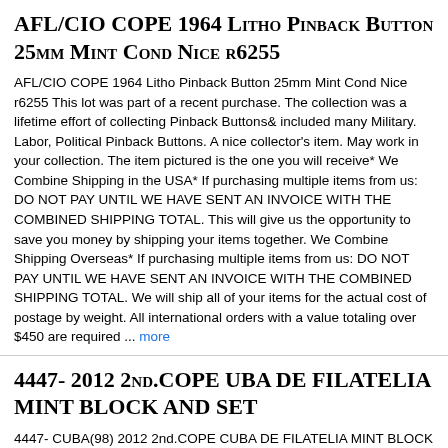AFL/CIO COPE 1964 Litho Pinback Button 25mm Mint Cond Nice r6255
AFL/CIO COPE 1964 Litho Pinback Button 25mm Mint Cond Nice r6255 This lot was part of a recent purchase. The collection was a lifetime effort of collecting Pinback Buttons& included many Military. Labor, Political Pinback Buttons. A nice collector's item. May work in your collection. The item pictured is the one you will receive* We Combine Shipping in the USA* If purchasing multiple items from us: DO NOT PAY UNTIL WE HAVE SENT AN INVOICE WITH THE COMBINED SHIPPING TOTAL. This will give us the opportunity to save you money by shipping your items together. We Combine Shipping Overseas* If purchasing multiple items from us: DO NOT PAY UNTIL WE HAVE SENT AN INVOICE WITH THE COMBINED SHIPPING TOTAL. We will ship all of your items for the actual cost of postage by weight. All international orders with a value totaling over $450 are required ... more
4447- 2012 2nd.COPE UBA DE FILATELIA MINT BLOCK AND SET
4447- CUBA(98) 2012 2nd.COPE CUBA DE FILATELIA MINT BLOCK AND SET PLEASE READ BEFORE BIDDING. YOUR BID IS AN AGREEMENT TO THESE TERMS. MAKING BIDS ON MY ITEMS. YOU ARE OK WITH MY SELLING CONDITIONS Pls pay within 5 days after auction close. I WILL USE REGISTERED POST ALL THE WORLD $4 SHIPPING COULD BE COMBINED WITH ALL OF MY ITEMS. ShIppIng and handlIng Cost-other fees( FOR COMBINE) = FIrst Item IS $4 for each addItIonal Item IS $0.10( WorldwIde) Please want to combine shipment payment before to your payment. you don't pay extra payment We take great care packaging every item to ensure safe shipment to Y